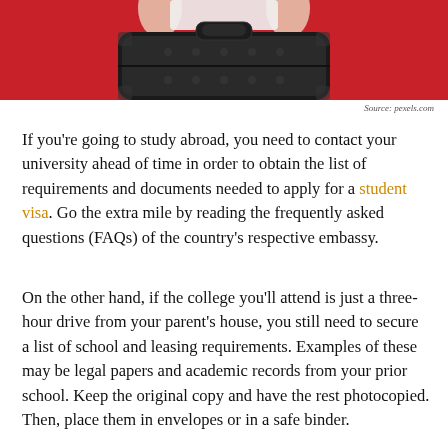[Figure (photo): Photo of a person holding up a dark hard-shell suitcase against a red background]
Source: pexels.com
If you're going to study abroad, you need to contact your university ahead of time in order to obtain the list of requirements and documents needed to apply for a student visa. Go the extra mile by reading the frequently asked questions (FAQs) of the country's respective embassy.
On the other hand, if the college you'll attend is just a three-hour drive from your parent's house, you still need to secure a list of school and leasing requirements. Examples of these may be legal papers and academic records from your prior school. Keep the original copy and have the rest photocopied. Then, place them in envelopes or in a safe binder.